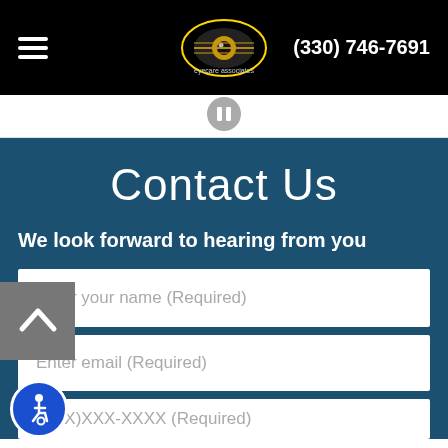(330) 746-7691
[Figure (logo): Eyecare Associates logo in header, gold and black eye symbol with text]
[Figure (other): Pause button icon (circle with two vertical bars)]
Contact Us
We look forward to hearing from you
Enter your name (Required)
Enter email (Required)
(XXX)XXX-XXXX (Required)